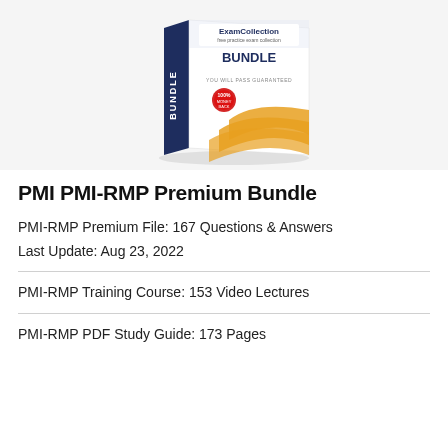[Figure (illustration): ExamCollection BUNDLE product box with dark blue spine labeled BUNDLE, white front face showing ExamCollection logo, free practice exam collection tagline, BUNDLE heading, YOU WILL PASS GUARANTEED text, 100% badge, and gold swoosh design elements]
PMI PMI-RMP Premium Bundle
PMI-RMP Premium File: 167 Questions & Answers
Last Update: Aug 23, 2022
PMI-RMP Training Course: 153 Video Lectures
PMI-RMP PDF Study Guide: 173 Pages